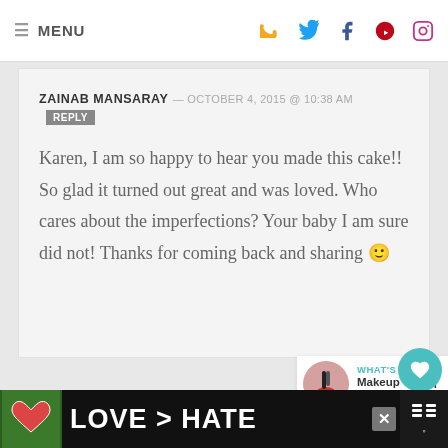MENU
ZAINAB MANSARAY — OCTOBER 4, 2015 @ 10:38 AM REPLY
Karen, I am so happy to hear you made this cake!! So glad it turned out great and was loved. Who cares about the imperfections? Your baby I am sure did not! Thanks for coming back and sharing 🙂
CINDY — OCTOBER 8, 2015 @ 5:30 PM REPLY
LOVE > HATE